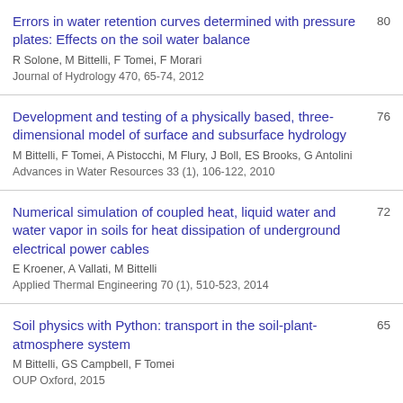Errors in water retention curves determined with pressure plates: Effects on the soil water balance
R Solone, M Bittelli, F Tomei, F Morari
Journal of Hydrology 470, 65-74, 2012
80
Development and testing of a physically based, three-dimensional model of surface and subsurface hydrology
M Bittelli, F Tomei, A Pistocchi, M Flury, J Boll, ES Brooks, G Antolini
Advances in Water Resources 33 (1), 106-122, 2010
76
Numerical simulation of coupled heat, liquid water and water vapor in soils for heat dissipation of underground electrical power cables
E Kroener, A Vallati, M Bittelli
Applied Thermal Engineering 70 (1), 510-523, 2014
72
Soil physics with Python: transport in the soil-plant-atmosphere system
M Bittelli, GS Campbell, F Tomei
OUP Oxford, 2015
65